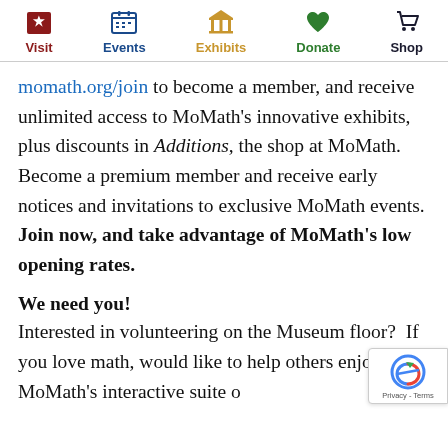Visit | Events | Exhibits | Donate | Shop
momath.org/join to become a member, and receive unlimited access to MoMath’s innovative exhibits, plus discounts in Additions, the shop at MoMath.  Become a premium member and receive early notices and invitations to exclusive MoMath events. Join now, and take advantage of MoMath’s low opening rates.
We need you!
Interested in volunteering on the Museum floor?  If you love math, would like to help others enjoy MoMath’s interactive suite o…